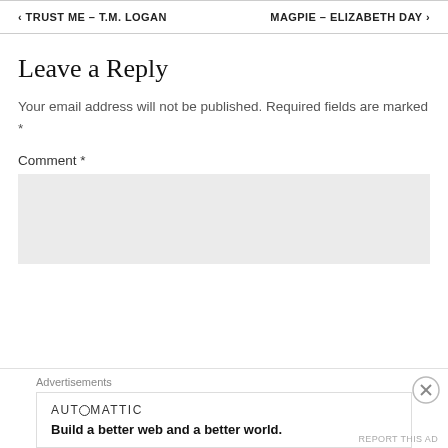< TRUST ME – T.M. LOGAN   MAGPIE – ELIZABETH DAY >
Leave a Reply
Your email address will not be published. Required fields are marked *
Comment *
[Figure (other): Comment text area input box (empty, light grey background)]
Advertisements
[Figure (logo): Automattic advertisement banner with logo text 'AUTOMATTIC' and tagline 'Build a better web and a better world.']